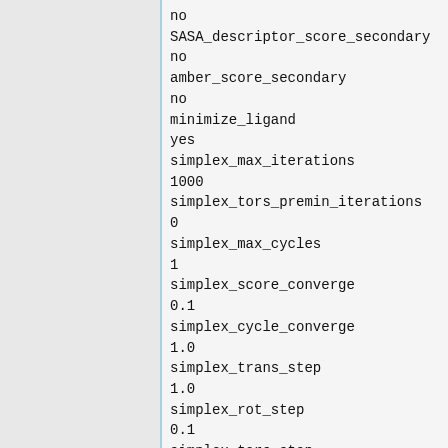no
SASA_descriptor_score_secondary
no
amber_score_secondary
no
minimize_ligand
yes
simplex_max_iterations
1000
simplex_tors_premin_iterations
0
simplex_max_cycles
1
simplex_score_converge
0.1
simplex_cycle_converge
1.0
simplex_trans_step
1.0
simplex_rot_step
0.1
simplex_tors_step
10.0
simplex_random_seed
0